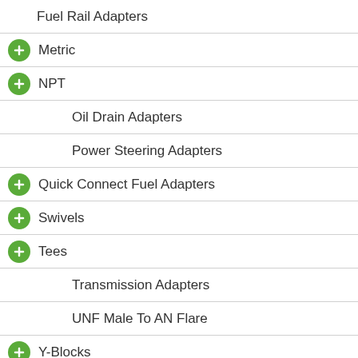Fuel Rail Adapters
Metric
NPT
Oil Drain Adapters
Power Steering Adapters
Quick Connect Fuel Adapters
Swivels
Tees
Transmission Adapters
UNF Male To AN Flare
Y-Blocks
AN Drain Taps
AN Flare Caps
AN Quick Release/Dry Break Fittings
Hose
Hose Ends
Plugs
Valves